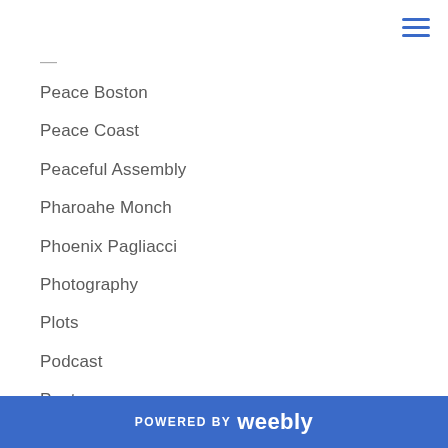Peace Boston
Peace Coast
Peaceful Assembly
Pharoahe Monch
Phoenix Pagliacci
Photography
Plots
Podcast
Poetry
Press
Problemattik
Producers
Producers United
POWERED BY weebly